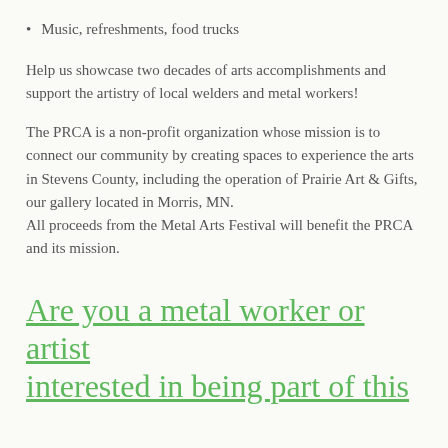Music, refreshments, food trucks
Help us showcase two decades of arts accomplishments and support the artistry of local welders and metal workers!
The PRCA is a non-profit organization whose mission is to connect our community by creating spaces to experience the arts in Stevens County, including the operation of Prairie Art & Gifts, our gallery located in Morris, MN.
All proceeds from the Metal Arts Festival will benefit the PRCA and its mission.
Are you a metal worker or artist interested in being part of this